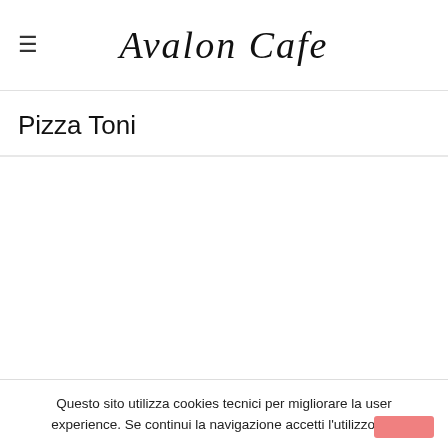Avalon Cafe
Pizza Toni
Questo sito utilizza cookies tecnici per migliorare la user experience. Se continui la navigazione accetti l'utilizzo dei